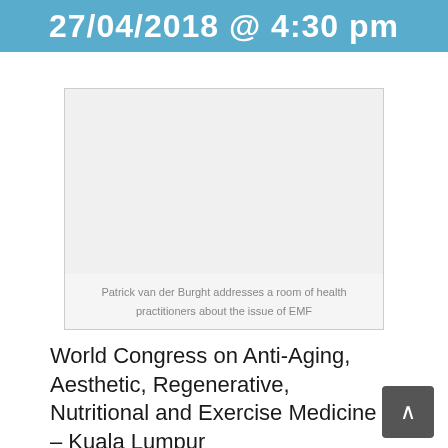27/04/2018 @ 4:30 pm
[Figure (photo): Photo of Patrick van der Burght addressing a room of health practitioners about the issue of EMF]
Patrick van der Burght addresses a room of health practitioners about the issue of EMF
World Congress on Anti-Aging, Aesthetic, Regenerative, Nutritional and Exercise Medicine – Kuala Lumpur